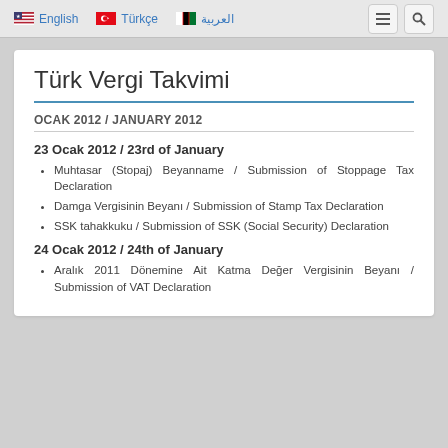English | Türkçe | العربية
Türk Vergi Takvimi
OCAK 2012 / JANUARY 2012
23 Ocak 2012 / 23rd of January
Muhtasar (Stopaj) Beyanname / Submission of Stoppage Tax Declaration
Damga Vergisinin Beyanı / Submission of Stamp Tax Declaration
SSK tahakkuku / Submission of SSK (Social Security) Declaration
24 Ocak 2012 / 24th of January
Aralık 2011 Dönemine Ait Katma Değer Vergisinin Beyanı / Submission of VAT Declaration